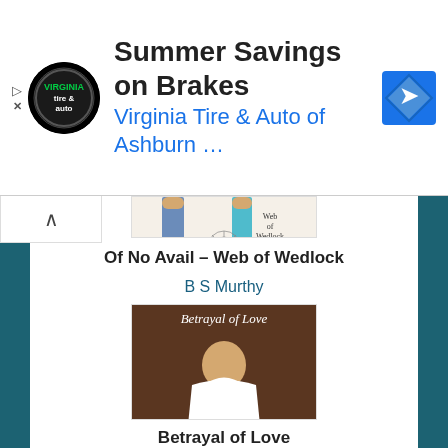[Figure (other): Advertisement banner: Virginia Tire & Auto of Ashburn - Summer Savings on Brakes, with logo and navigation arrow icon]
[Figure (illustration): Partially visible book cover: 'Of No Avail - Web of Wedlock' by BS Murthy, showing two figures and a spider web]
Of No Avail – Web of Wedlock
B S Murthy
[Figure (illustration): Book cover: 'Betrayal of Love' by Annette Austin, showing a woman in white dress holding pink flowers]
Betrayal of Love